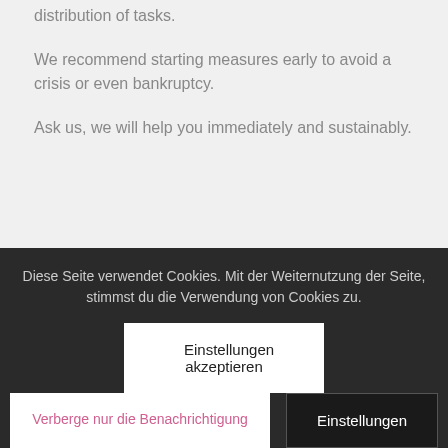distribution of tasks.
We recommend starting measures early to avoid a crisis or even bankruptcy.
Ask us, we will help you immediately and sustainably.
Diese Seite verwendet Cookies. Mit der Weiternutzung der Seite, stimmst du die Verwendung von Cookies zu.
Einstellungen akzeptieren
Verberge nur die Benachrichtigung
Einstellungen